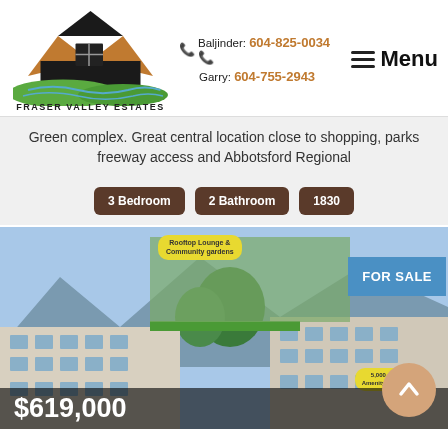[Figure (logo): Fraser Valley Estates house logo with roof and text]
Baljinder: 604-825-0034
Garry: 604-755-2943
Menu
Green complex. Great central location close to shopping, parks freeway access and Abbotsford Regional
3 Bedroom
2 Bathroom
1830
[Figure (photo): Property photo collage showing rooftop lounge, community gardens, and residential building complex with FOR SALE badge]
$619,000